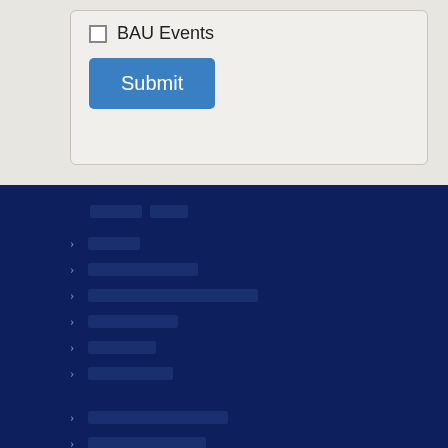BAU Events (checkbox)
Submit (button)
[redacted navigation header]
[redacted menu item 1]
[redacted menu item 2]
[redacted menu item 3]
[redacted menu item 4]
[redacted menu item 5]
[redacted menu item 6]
[redacted menu item 7]
[redacted menu item 8]
[redacted menu item 9]